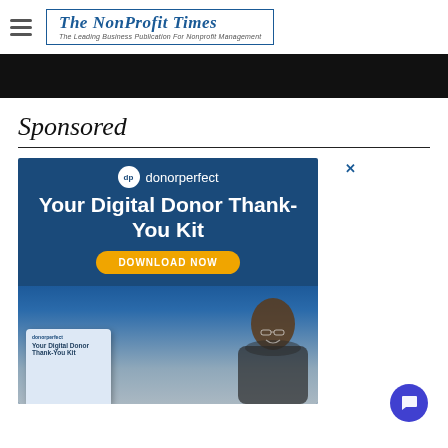The NonProfit Times — The Leading Business Publication For Nonprofit Management
[Figure (other): Black navigation bar below header]
Sponsored
[Figure (other): DonorPerfect advertisement banner: 'Your Digital Donor Thank-You Kit' with Download Now button and photo of smiling woman]